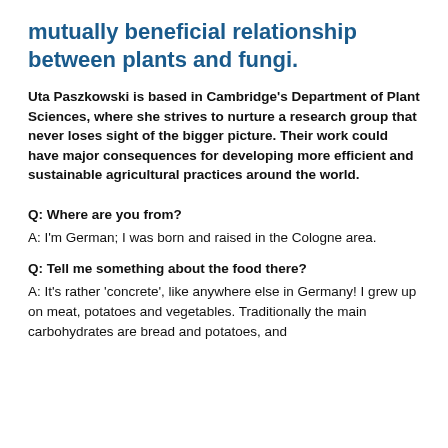mutually beneficial relationship between plants and fungi.
Uta Paszkowski is based in Cambridge's Department of Plant Sciences, where she strives to nurture a research group that never loses sight of the bigger picture. Their work could have major consequences for developing more efficient and sustainable agricultural practices around the world.
Q: Where are you from?
A: I'm German; I was born and raised in the Cologne area.
Q: Tell me something about the food there?
A: It's rather 'concrete', like anywhere else in Germany! I grew up on meat, potatoes and vegetables. Traditionally the main carbohydrates are bread and potatoes, and